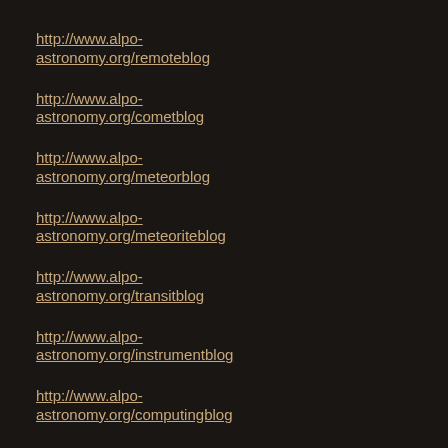http://www.alpo-astronomy.org/remoteblog
http://www.alpo-astronomy.org/cometblog
http://www.alpo-astronomy.org/meteorblog
http://www.alpo-astronomy.org/meteoriteblog
http://www.alpo-astronomy.org/transitblog
http://www.alpo-astronomy.org/instrumentblog
http://www.alpo-astronomy.org/computingblog